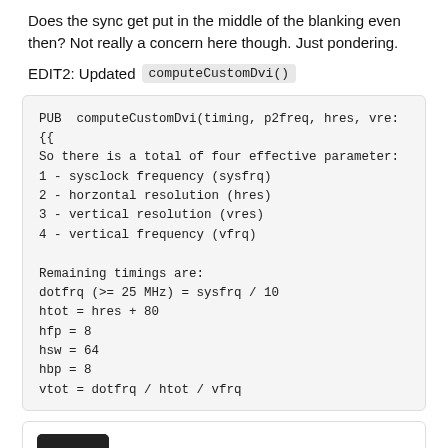Does the sync get put in the middle of the blanking even then? Not really a concern here though. Just pondering.
EDIT2: Updated computeCustomDvi()
PUB  computeCustomDvi(timing, p2freq, hres, vre:
{{
So there is a total of four effective parameter:
1 - sysclock frequency (sysfrq)
2 - horzontal resolution (hres)
3 - vertical resolution (vres)
4 - vertical frequency (vfrq)

Remaining timings are:
dotfrq (>= 25 MHz) = sysfrq / 10
htot = hres + 80
hfp = 8
hsw = 64
hbp = 8
vtot = dotfrq / htot / vfrq
rogloh  Posts: 4,491
2022-01-31 04:19